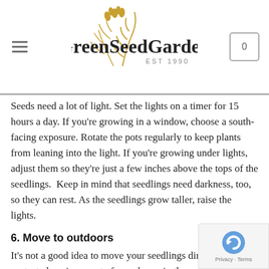GreenSeedGarden EST 1990
Seeds need a lot of light. Set the lights on a timer for 15 hours a day. If you're growing in a window, choose a south-facing exposure. Rotate the pots regularly to keep plants from leaning into the light. If you're growing under lights, adjust them so they're just a few inches above the tops of the seedlings.  Keep in mind that seedlings need darkness, too, so they can rest. As the seedlings grow taller, raise the lights.
6. Move to outdoors
It's not a good idea to move your seedlings directly from the protected environment of your home into the garden. You've been coddling these seedlings for